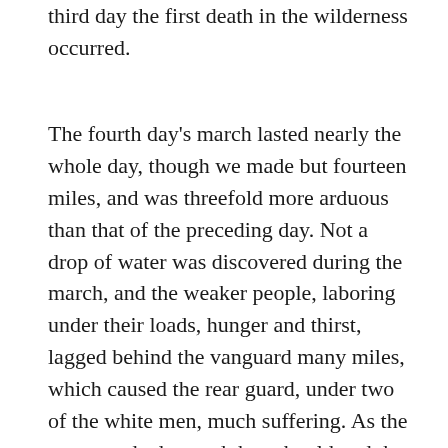third day the first death in the wilderness occurred.
The fourth day's march lasted nearly the whole day, though we made but fourteen miles, and was threefold more arduous than that of the preceding day. Not a drop of water was discovered during the march, and the weaker people, laboring under their loads, hunger and thirst, lagged behind the vanguard many miles, which caused the rear guard, under two of the white men, much suffering. As the rear guard advanced they shouldered the loads of the weaker men, and endeavored to encourage